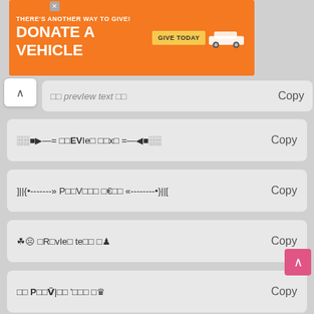[Figure (screenshot): Orange banner advertisement: THERE'S ANOTHER WAY TO GIVE! DONATE A VEHICLE with GIVE TODAY button and car illustration]
▲ (back button)
□□ preVIew text □□  Copy
░░■▶—= □□EVIeⅡ □□x□ =—◀■░░  Copy
]||{•-------» P□□V□□□ □€□□ «--------•}||[  Copy
☘☹  ⅡR□vIeⅡ te□□ □♟  Copy
□□ ⓅⅡⅤ̈|□□ '□□□ □♛  Copy
□◇  □□□V□□□ Ṫe□□ □□  Copy
□□ □□ᵉVⅠeⅡ □eχT □□  Copy
□☵ □reV'eW □IEⅡṪ □□△  Copy